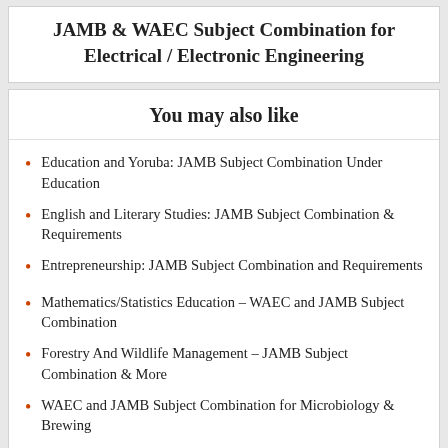JAMB & WAEC Subject Combination for Electrical / Electronic Engineering
You may also like
Education and Yoruba: JAMB Subject Combination Under Education
English and Literary Studies: JAMB Subject Combination & Requirements
Entrepreneurship: JAMB Subject Combination and Requirements
Mathematics/Statistics Education – WAEC and JAMB Subject Combination
Forestry And Wildlife Management – JAMB Subject Combination & More
WAEC and JAMB Subject Combination for Microbiology & Brewing
About the author